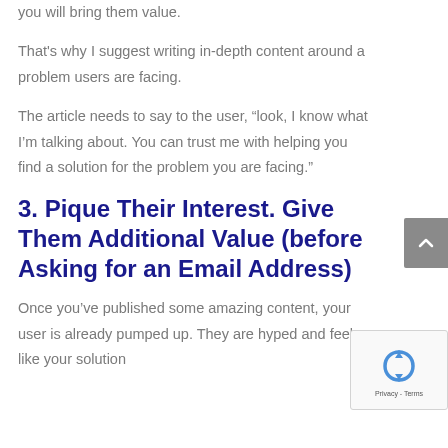you will bring them value.
That's why I suggest writing in-depth content around a problem users are facing.
The article needs to say to the user, “look, I know what I’m talking about. You can trust me with helping you find a solution for the problem you are facing.”
3. Pique Their Interest. Give Them Additional Value (before Asking for an Email Address)
Once you’ve published some amazing content, your user is already pumped up. They are hyped and feel like your solution